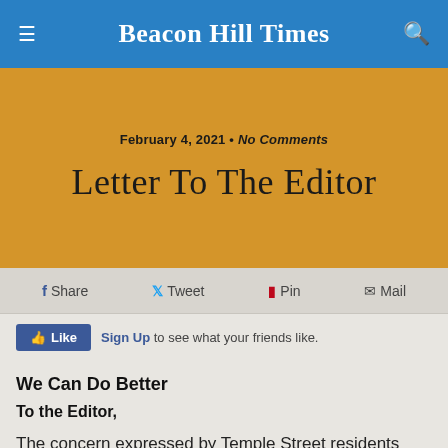Beacon Hill Times
Letter To The Editor
February 4, 2021 • No Comments
Share  Tweet  Pin  Mail
Like  Sign Up to see what your friends like.
We Can Do Better
To the Editor,
The concern expressed by Temple Street residents regarding streetlamps, gas leakage, tree damage and the broader issue of energy and the environment